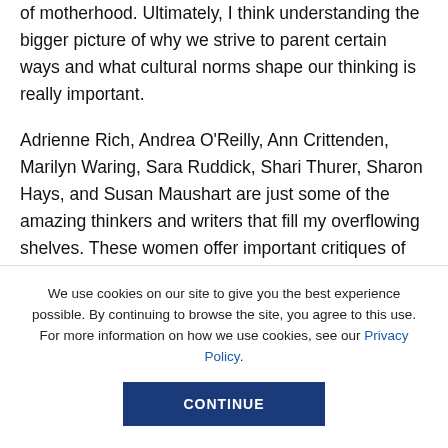of motherhood. Ultimately, I think understanding the bigger picture of why we strive to parent certain ways and what cultural norms shape our thinking is really important.
Adrienne Rich, Andrea O'Reilly, Ann Crittenden, Marilyn Waring, Sara Ruddick, Shari Thurer, Sharon Hays, and Susan Maushart are just some of the amazing thinkers and writers that fill my overflowing shelves. These women offer important critiques of the institution of
We use cookies on our site to give you the best experience possible. By continuing to browse the site, you agree to this use. For more information on how we use cookies, see our Privacy Policy.
CONTINUE